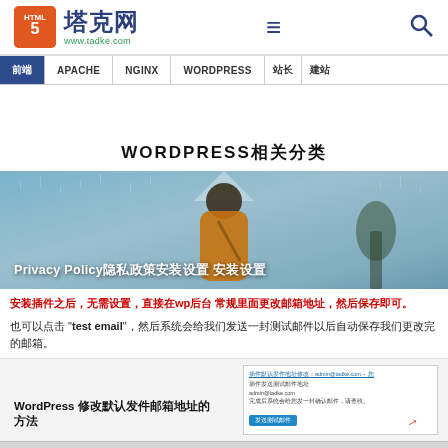[Figure (screenshot): 塔克网 website header with HTML5 logo, site name 塔克网 www.tadke.com, hamburger menu icon, and search icon]
塔克网 www.tadke.com
WORDPRESS相关分类
[Figure (photo): Blog post card with rainy window background and person in orange coat, titled 'Privacy Policy隐私政策 安装设置']
安装插件之后，无需设置，直接在wp后台 常规里面更改邮箱地址，然后保存即可。
也可以点击 "test email"，然后系统会给我们发送一封测试邮件以后自动保存我们更改完的邮箱。
[Figure (screenshot): WordPress plugin settings screenshot showing email configuration form with a blue button and red arrow pointer]
WordPress 修改默认发件邮箱地址的方法